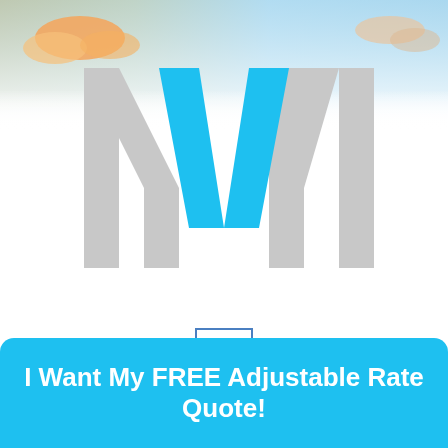[Figure (logo): AVM logo with large cyan/blue V letter between two gray M-like letters, set against a sky background with clouds and sunset colors]
[Figure (other): Hamburger menu icon — three horizontal blue lines inside a square border]
I Want My FREE Adjustable Rate Quote!